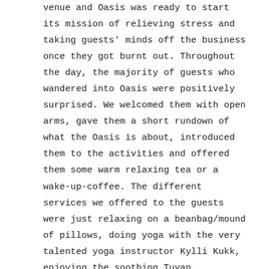venue and Oasis was ready to start its mission of relieving stress and taking guests' minds off the business once they got burnt out. Throughout the day, the majority of guests who wandered into Oasis were positively surprised. We welcomed them with open arms, gave them a short rundown of what the Oasis is about, introduced them to the activities and offered them some warm relaxing tea or a wake-up-coffee. The different services we offered to the guests were just relaxing on a beanbag/mound of pillows, doing yoga with the very talented yoga instructor Kylli Kukk, enjoying the soothing Tuvan (Mongolian) throat-singing, yatga